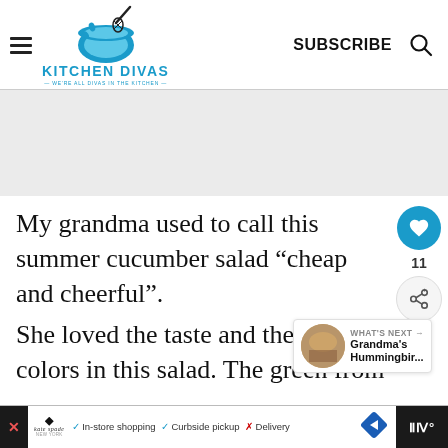Kitchen Divas — WE'RE ALL DIVAS IN THE KITCHEN — SUBSCRIBE
[Figure (screenshot): Gray advertisement banner placeholder area]
My grandma used to call this summer cucumber salad “cheap and cheerful”.
She loved the taste and the colors in this salad. The green from
[Figure (infographic): What's Next panel showing Grandma's Hummingbir...]
kate spade  ✓ In-store shopping  ✓ Curbside pickup  ✗ Delivery